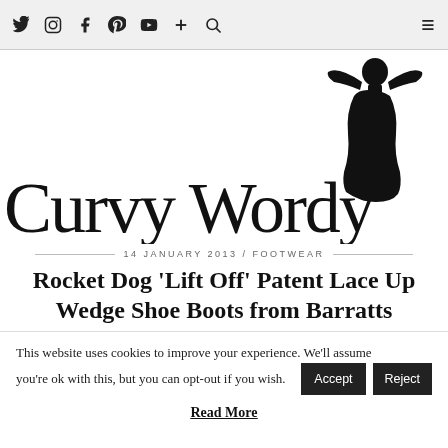Navigation bar with social icons: Twitter, Instagram, Facebook, Pinterest, YouTube, Plus, Search, and Hamburger menu
[Figure (logo): Curvy Wordy blog logo with large text 'Curvy Wordy' and a black silhouette of a curvy woman with hands behind her head]
14 JANUARY 2013 / FOOTWEAR
Rocket Dog ‘Lift Off’ Patent Lace Up Wedge Shoe Boots from Barratts
This website uses cookies to improve your experience. We'll assume you're ok with this, but you can opt-out if you wish. Accept Reject
Read More